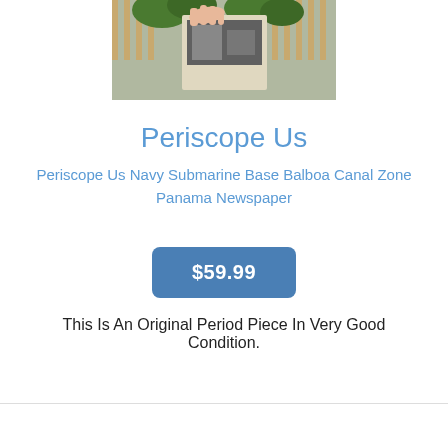[Figure (photo): A hand holding a newspaper or document outdoors, with wooden railing and greenery visible in the background. The document appears to show a black and white image.]
Periscope Us
Periscope Us Navy Submarine Base Balboa Canal Zone Panama Newspaper
$59.99
This Is An Original Period Piece In Very Good Condition.